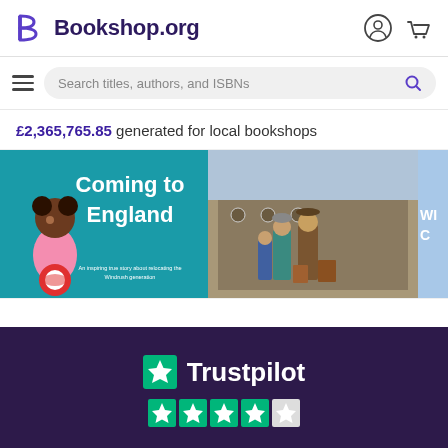[Figure (logo): Bookshop.org logo with stylized B and site name, plus user account and cart icons]
[Figure (screenshot): Search bar with hamburger menu, placeholder text 'Search titles, authors, and ISBNs', and search icon]
£2,365,765.85 generated for local bookshops
[Figure (photo): Book cover carousel showing 'Coming to England' illustrated children's book, a photorealistic historical fiction cover with immigrants, and a partial third cover]
[Figure (logo): Trustpilot logo with green star on dark purple background, with green star rating bar below]